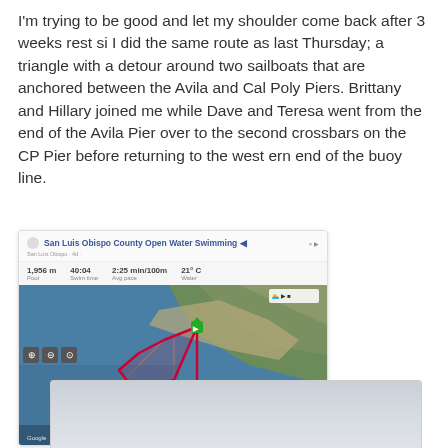I'm trying to be good and let my shoulder come back after 3 weeks rest si I did the same route as last Thursday; a triangle with a detour around two sailboats that are anchored between the Avila and Cal Poly Piers. Brittany and Hillary joined me while Dave and Teresa went from the end of the Avila Pier over to the second crossbars on the CP Pier before returning to the west ern end of the buoy line.
[Figure (screenshot): Screenshot of a fitness tracking app (San Luis Obispo County Open Water Swimming) showing a GPS route map over satellite imagery of a coastal area. Stats shown: 1,956 m distance, 40:04 time, 2:25 min/100m pace, 21°C. The route is displayed as a red triangular/loop shape over water near piers, with a green start marker.]
[Figure (photo): Partial photo showing a light grayish-blue sky or water surface, cropped at the bottom of the page.]